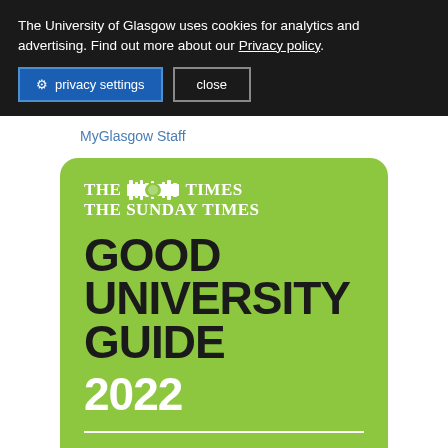The University of Glasgow uses cookies for analytics and advertising. Find out more about our Privacy policy.
privacy settings
close
MyGlasgow Staff
[Figure (logo): The Times / The Sunday Times Good University Guide 2022 Scottish badge on a green rounded rectangle background]